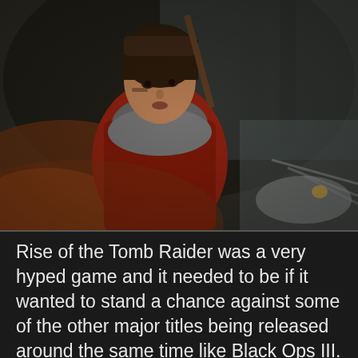[Figure (photo): Screenshot from Rise of the Tomb Raider video game showing Lara Croft character in a red jacket and grey scarf in a snowy winter setting, looking distressed, with a bow visible on her back]
Rise of the Tomb Raider was a very hyped game and it needed to be if it wanted to stand a chance against some of the other major titles being released around the same time like Black Ops III. Despite the risk, Microsoft Studios Marketing Group General Manager Aaron Greenberg revealed in an interview with DuelShockers that the company was “really pleased” with how well the game has done so far. Stating